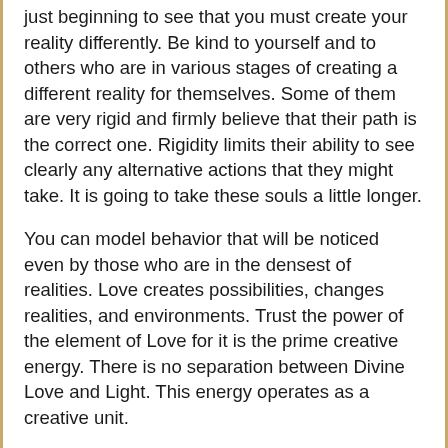just beginning to see that you must create your reality differently. Be kind to yourself and to others who are in various stages of creating a different reality for themselves. Some of them are very rigid and firmly believe that their path is the correct one. Rigidity limits their ability to see clearly any alternative actions that they might take. It is going to take these souls a little longer.
You can model behavior that will be noticed even by those who are in the densest of realities. Love creates possibilities, changes realities, and environments. Trust the power of the element of Love for it is the prime creative energy. There is no separation between Divine Love and Light. This energy operates as a creative unit.
Now let us talk about you personally. This is the perfect time to reinforce your awareness of the